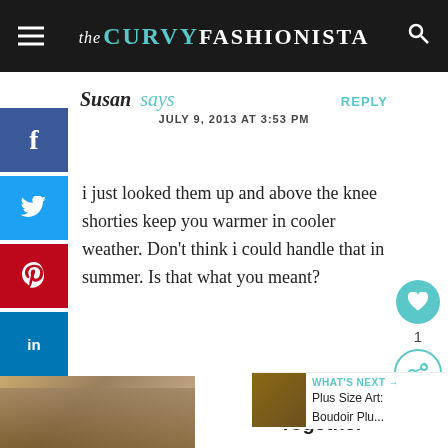the CURVY FASHIONISTA
Susan says  REPLY
JULY 9, 2013 AT 3:53 PM
i just looked them up and above the knee shorties keep you warmer in cooler weather. Don't think i could handle that in summer. Is that what you meant?
Kaitey Letellier  REPLY
[Figure (screenshot): Ad banner: We Stand Together with group of people photo]
[Figure (infographic): What's Next widget: Plus Size Art: Boudoir Plu...]